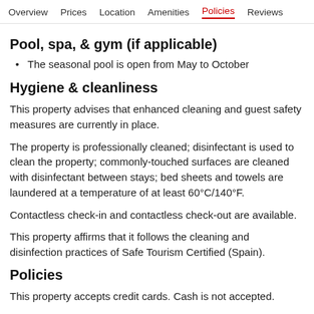Overview  Prices  Location  Amenities  Policies  Reviews
Pool, spa, & gym (if applicable)
The seasonal pool is open from May to October
Hygiene & cleanliness
This property advises that enhanced cleaning and guest safety measures are currently in place.
The property is professionally cleaned; disinfectant is used to clean the property; commonly-touched surfaces are cleaned with disinfectant between stays; bed sheets and towels are laundered at a temperature of at least 60°C/140°F.
Contactless check-in and contactless check-out are available.
This property affirms that it follows the cleaning and disinfection practices of Safe Tourism Certified (Spain).
Policies
This property accepts credit cards. Cash is not accepted.